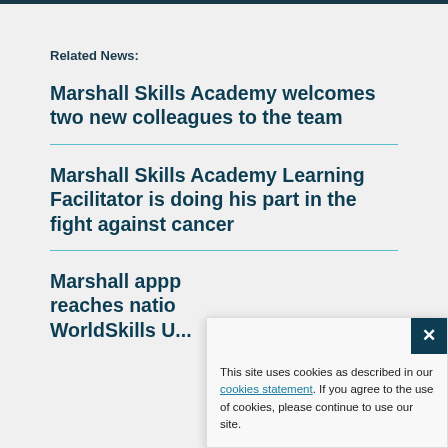Related News:
Marshall Skills Academy welcomes two new colleagues to the team
Marshall Skills Academy Learning Facilitator is doing his part in the fight against cancer
Marshall app reaches national WorldSkills U...
This site uses cookies as described in our cookies statement. If you agree to the use of cookies, please continue to use our site.